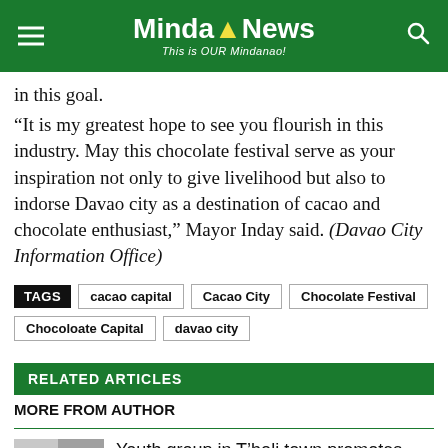MindaNews - This is OUR Mindanao!
in this goal.
“It is my greatest hope to see you flourish in this industry. May this chocolate festival serve as your inspiration not only to give livelihood but also to indorse Davao city as a destination of cacao and chocolate enthusiast,” Mayor Inday said. (Davao City Information Office)
TAGS: cacao capital | Cacao City | Chocolate Festival | Chocoloate Capital | davao city
RELATED ARTICLES
MORE FROM AUTHOR
Youth group in T’boli town promotes